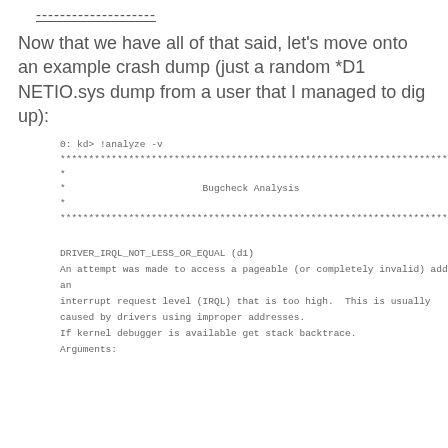--------------------
Now that we have all of that said, let's move onto an example crash dump (just a random *D1 NETIO.sys dump from a user that I managed to dig up):
0: kd> !analyze -v
*******************************************************************************
*                                                                             *
*                        Bugcheck Analysis                                    *
*                                                                             *
*******************************************************************************
DRIVER_IRQL_NOT_LESS_OR_EQUAL (d1)
An attempt was made to access a pageable (or completely invalid) address at
an
interrupt request level (IRQL) that is too high.  This is usually
caused by drivers using improper addresses.
If kernel debugger is available get stack backtrace.
Arguments: